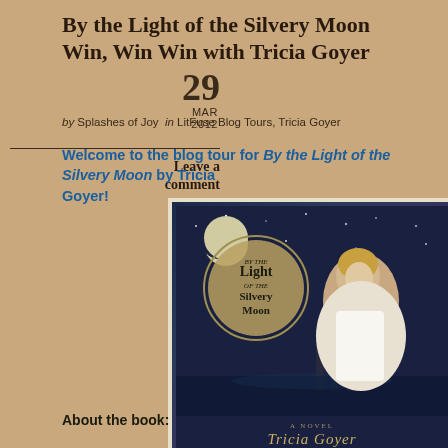By the Light of the Silvery Moon Win, Win Win with Tricia Goyer
29
MAR 2012
by Splashes of Joy  in LitFuse Blog Tours, Tricia Goyer
Leave a comment
Welcome to the blog tour for By the Light of the Silvery Moon by Tricia Goyer!
[Figure (photo): Book cover of 'By the Light of the Silvery Moon' by Tricia Goyer, showing a young woman in vintage dress against a moonlit night sky with what appears to be a sinking ship in the background]
About the book: